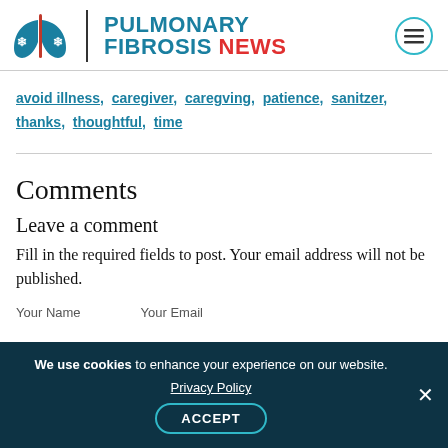[Figure (logo): Pulmonary Fibrosis News logo with lungs icon, vertical divider, and brand text]
avoid illness, caregiver, caregving, patience, sanitzer, thanks, thoughtful, time
Comments
Leave a comment
Fill in the required fields to post. Your email address will not be published.
Your Name    Your Email
We use cookies to enhance your experience on our website. Privacy Policy ACCEPT